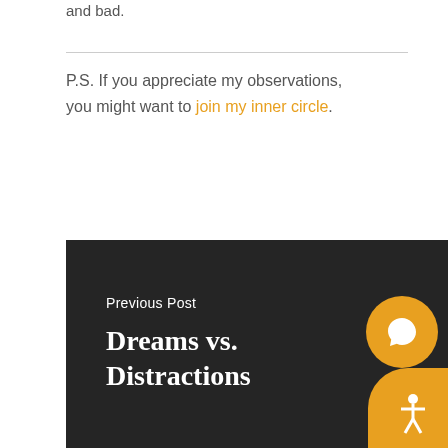and bad.
P.S. If you appreciate my observations, you might want to join my inner circle.
[Figure (other): Dark banner block with text 'Previous Post' and title 'Dreams vs. Distractions', with an orange chat icon and accessibility icon overlaid at bottom right]